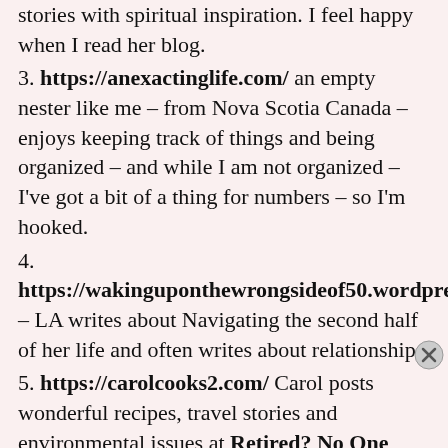stories with spiritual inspiration. I feel happy when I read her blog.
3. https://anexactinglife.com/ an empty nester like me – from Nova Scotia Canada – enjoys keeping track of things and being organized – and while I am not organized – I've got a bit of a thing for numbers – so I'm hooked.
4. https://wakinguponthewrongsideof50.wordpress.co – LA writes about Navigating the second half of her life and often writes about relationships
5. https://carolcooks2.com/ Carol posts wonderful recipes, travel stories and environmental issues at Retired? No One Told Me!
6. https://annofgg.com/ Ann's Corner – I am enjoying reading posts from Ann – who is a retired
Advertisements
[Figure (other): Advertisement banner: dark navy background with text 'Opinions. We all have them!' and WordPress logo and another circular logo on the right.]